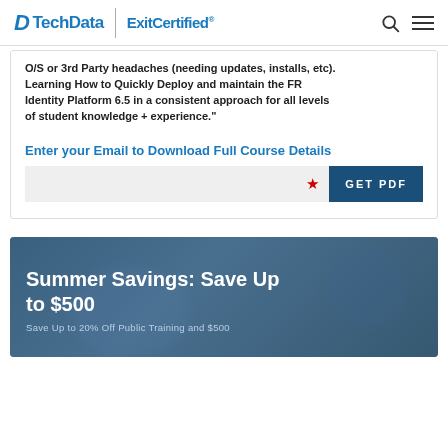TechData | ExitCertified®
O/S or 3rd Party headaches (needing updates, installs, etc). Learning How to Quickly Deploy and maintain the FR Identity Platform 6.5 in a consistent approach for all levels of student knowledge + experience."
Enter your Email to Download Full Course Details
GET PDF
Summer Savings: Save Up to $500
Save Up to 20% Off Public Training and $500